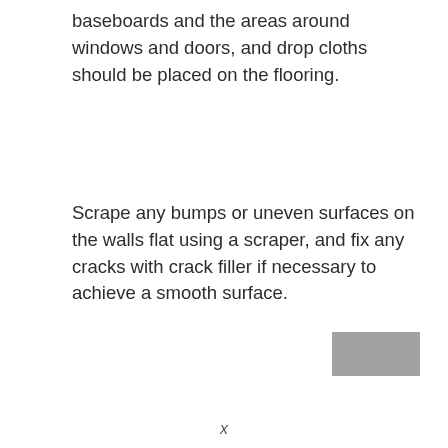baseboards and the areas around windows and doors, and drop cloths should be placed on the flooring.
Scrape any bumps or uneven surfaces on the walls flat using a scraper, and fix any cracks with crack filler if necessary to achieve a smooth surface.
[Figure (other): Gray rectangle, partially visible at bottom right corner of page, possibly a UI element or image thumbnail]